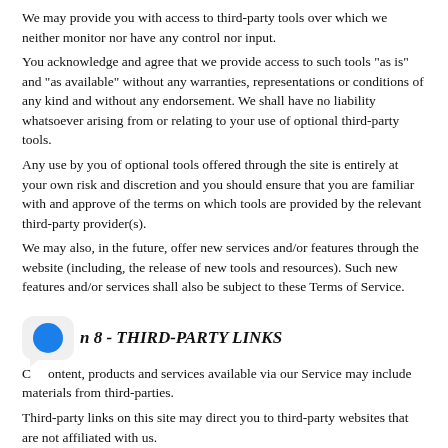We may provide you with access to third-party tools over which we neither monitor nor have any control nor input.
You acknowledge and agree that we provide access to such tools "as is" and "as available" without any warranties, representations or conditions of any kind and without any endorsement. We shall have no liability whatsoever arising from or relating to your use of optional third-party tools.
Any use by you of optional tools offered through the site is entirely at your own risk and discretion and you should ensure that you are familiar with and approve of the terms on which tools are provided by the relevant third-party provider(s).
We may also, in the future, offer new services and/or features through the website (including, the release of new tools and resources). Such new features and/or services shall also be subject to these Terms of Service.
Section 8 - THIRD-PARTY LINKS
Content, products and services available via our Service may include materials from third-parties.
Third-party links on this site may direct you to third-party websites that are not affiliated with us.